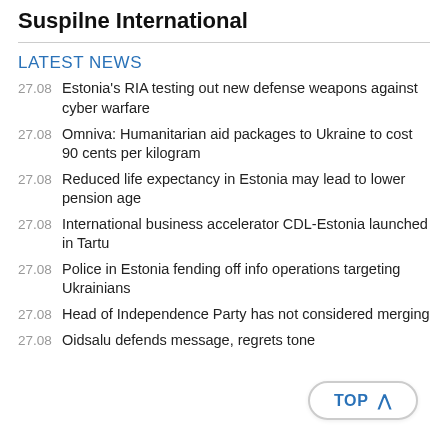Suspilne International
LATEST NEWS
27.08  Estonia's RIA testing out new defense weapons against cyber warfare
27.08  Omniva: Humanitarian aid packages to Ukraine to cost 90 cents per kilogram
27.08  Reduced life expectancy in Estonia may lead to lower pension age
27.08  International business accelerator CDL-Estonia launched in Tartu
27.08  Police in Estonia fending off info operations targeting Ukrainians
27.08  Head of Independence Party has not considered merging
27.08  Oidsalu defends message, regrets tone